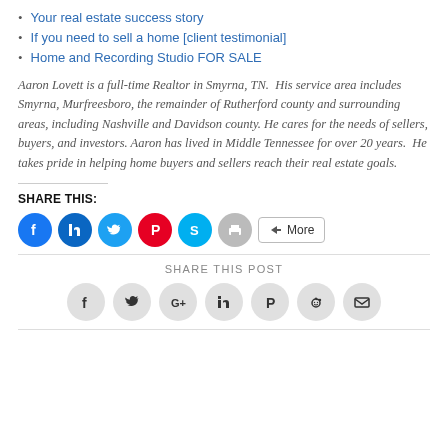Your real estate success story
If you need to sell a home [client testimonial]
Home and Recording Studio FOR SALE
Aaron Lovett is a full-time Realtor in Smyrna, TN.  His service area includes Smyrna, Murfreesboro, the remainder of Rutherford county and surrounding areas, including Nashville and Davidson county. He cares for the needs of sellers, buyers, and investors. Aaron has lived in Middle Tennessee for over 20 years.  He takes pride in helping home buyers and sellers reach their real estate goals.
SHARE THIS:
[Figure (infographic): Row of colored social share icon circles: Facebook (blue), LinkedIn (blue), Twitter (cyan), Pinterest (red), Skype (cyan), Print (gray), and a More button]
SHARE THIS POST
[Figure (infographic): Row of gray circle social share icons: Facebook, Twitter, Google+, LinkedIn, Pinterest, Reddit, Email]